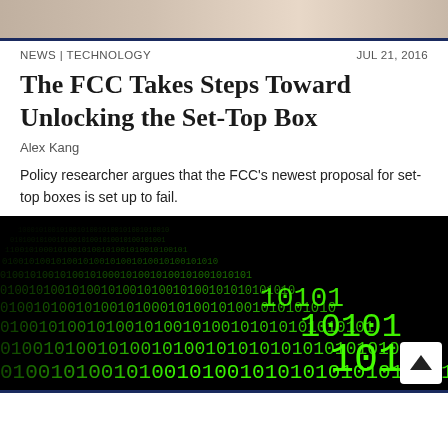[Figure (photo): Partial photo at top of page, cropped, showing blurred background scene]
NEWS | TECHNOLOGY    JUL 21, 2016
The FCC Takes Steps Toward Unlocking the Set-Top Box
Alex Kang
Policy researcher argues that the FCC's newest proposal for set-top boxes is set up to fail.
[Figure (photo): Close-up photo of green binary code (0s and 1s) on a black background, perspective view]